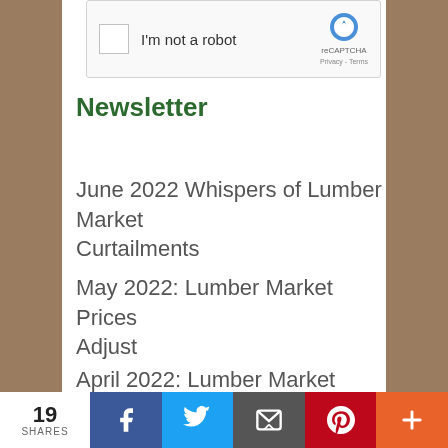[Figure (screenshot): reCAPTCHA widget with checkbox 'I'm not a robot' and reCAPTCHA logo, Privacy - Terms links]
Newsletter
June 2022 Whispers of Lumber Market Curtailments
May 2022: Lumber Market Prices Adjust
April 2022: Lumber Market Prices
19 SHARES | Facebook | Twitter | Email | Pinterest | More